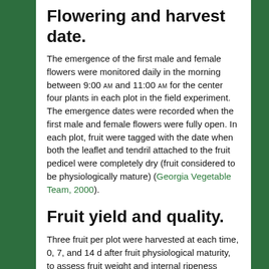Flowering and harvest date.
The emergence of the first male and female flowers were monitored daily in the morning between 9:00 AM and 11:00 AM for the center four plants in each plot in the field experiment. The emergence dates were recorded when the first male and female flowers were fully open. In each plot, fruit were tagged with the date when both the leaflet and tendril attached to the fruit pedicel were completely dry (fruit considered to be physiologically mature) (Georgia Vegetable Team, 2000).
Fruit yield and quality.
Three fruit per plot were harvested at each time, 0, 7, and 14 d after fruit physiological maturity, to assess fruit weight and internal ripeness characteristics (fruit quality) relative to the presence of external